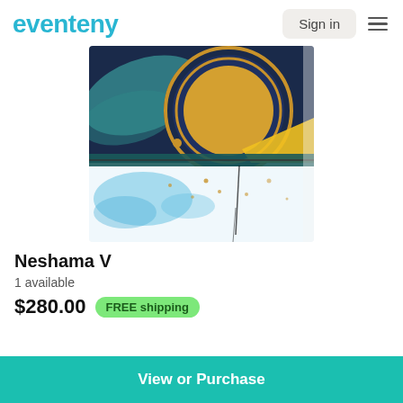eventeny  Sign in
[Figure (photo): Abstract painting showing a large golden circle (moon/sun) with concentric dark navy rings, teal swirling background, yellow accent at lower right, and light blue watercolor splashes at the bottom on white background. Artwork is on a square canvas.]
Neshama V
1 available
$280.00  FREE shipping
View or Purchase